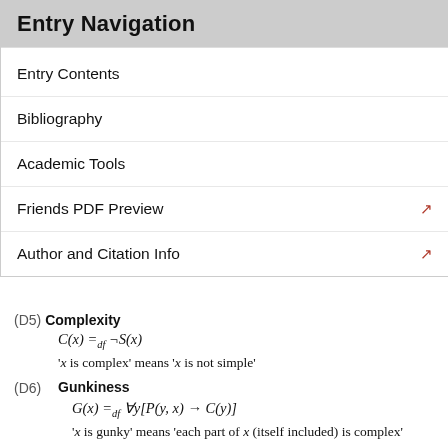Entry Navigation
Entry Contents
Bibliography
Academic Tools
Friends PDF Preview
Author and Citation Info
(D5) Complexity
'x is complex' means 'x is not simple'
(D6) Gunkiness
'x is gunky' means 'each part of x (itself included) is complex'
(D7) Coincidence
'x mereologically coincides with y' means 'x overlaps exactly the same things as y'